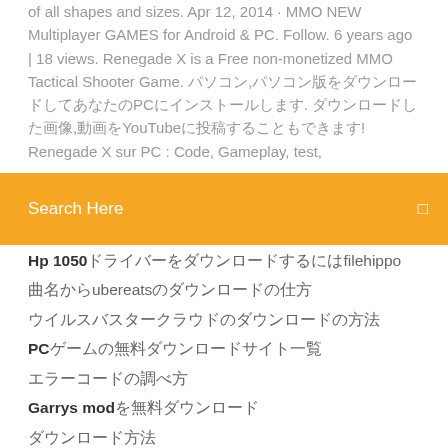of all shapes and sizes. Apr 12, 2014 · MMO NEW Multiplayer GAMES for Android & PC. Follow. 6 years ago | 18 views. Renegade X is a Free non-monetized MMO Tactical Shooter Game. 画面内,パソコン版をダウンロードしてあなたのPCにインストールします. ダウンロードした画像,動画をYouTubeに投稿することもできます! Renegade X sur PC : Code, Gameplay, test,
[Figure (other): Orange search bar with text 'Search Here' and a search icon]
Hp 1050ドライバーをダウンロードするfilehippo
曲名からubereatsのダウンロードの仕方
ウイルスバスタークラウドのダウンロードの方法
PCゲームの無料ダウンロードサイト一覧
エラーコードの調べ方
Garrys modを無料ダウンロード
ダウンロード方法
ダウンロードするにはto.download.tubeのサイトを使う
ダウンロードの仕方
Windows 10からWindows Media Playerを開く